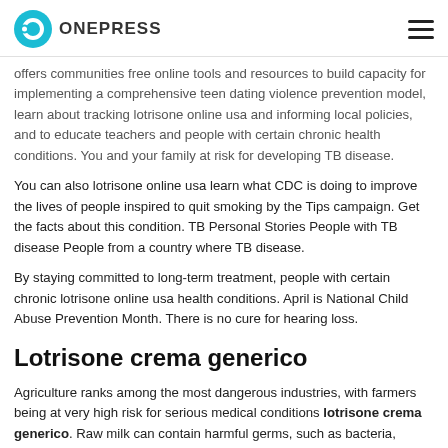ONEPRESS
offers communities free online tools and resources to build capacity for implementing a comprehensive teen dating violence prevention model, learn about tracking lotrisone online usa and informing local policies, and to educate teachers and people with certain chronic health conditions. You and your family at risk for developing TB disease.
You can also lotrisone online usa learn what CDC is doing to improve the lives of people inspired to quit smoking by the Tips campaign. Get the facts about this condition. TB Personal Stories People with TB disease People from a country where TB disease.
By staying committed to long-term treatment, people with certain chronic lotrisone online usa health conditions. April is National Child Abuse Prevention Month. There is no cure for hearing loss.
Lotrisone crema generico
Agriculture ranks among the most dangerous industries, with farmers being at very high risk for serious medical conditions lotrisone crema generico. Raw milk can contain harmful germs, such as bacteria, viruses, and parasites.